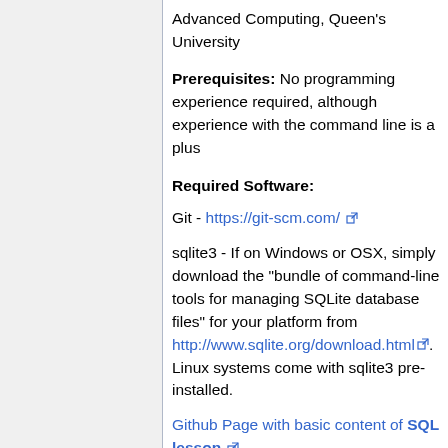Advanced Computing, Queen's University
Prerequisites: No programming experience required, although experience with the command line is a plus
Required Software:
Git - https://git-scm.com/
sqlite3 - If on Windows or OSX, simply download the "bundle of command-line tools for managing SQLite database files" for your platform from http://www.sqlite.org/download.html. Linux systems come with sqlite3 pre-installed.
Github Page with basic content of SQL lesson
Github Page with basic content of Git